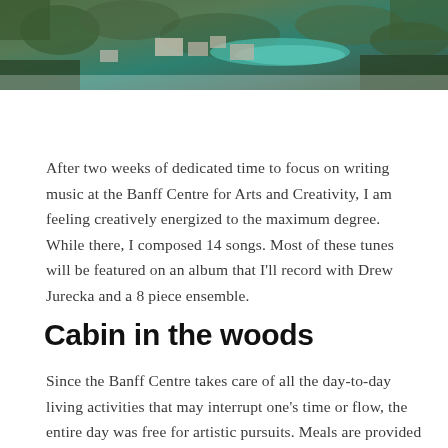[Figure (photo): Aerial photograph of the Banff Centre for Arts and Creativity campus, showing buildings surrounded by dense forest and a teal-colored river or lake visible in the background.]
After two weeks of dedicated time to focus on writing music at the Banff Centre for Arts and Creativity, I am feeling creatively energized to the maximum degree. While there, I composed 14 songs. Most of these tunes will be featured on an album that I'll record with Drew Jurecka and a 8 piece ensemble.
Cabin in the woods
Since the Banff Centre takes care of all the day-to-day living activities that may interrupt one's time or flow, the entire day was free for artistic pursuits. Meals are provided with the artist meal card, there's a gym with yoga classes on campus, a music library with CD's and vinyl and house plants. Oh,